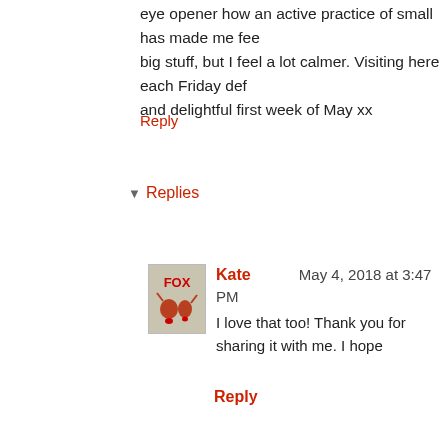eye opener how an active practice of small has made me fee big stuff, but I feel a lot calmer. Visiting here each Friday def and delightful first week of May xx
Reply
▼ Replies
Kate   May 4, 2018 at 3:47 PM
I love that too! Thank you for sharing it with me. I hope
Reply
simplelife   April 27, 2018 at 6:31 PM
Gosh Kate, your blog is always so beautiful and moving for me I've had a week of really big emotions, just my own and it's be one bit. I hope your broken hearted one soon moves through t I love the gifts you gave to your farmer boy. Your studio, how very exciting for you. The bulbs, I would go for a jumbled up sea of flowers, becau wild messy mixed up kind of gal. I never ate pumpkin for years, still don't like it but others do so Those sunflowers are so beautiful. I grew some once, my you when she brought them home we planted them out and they again.